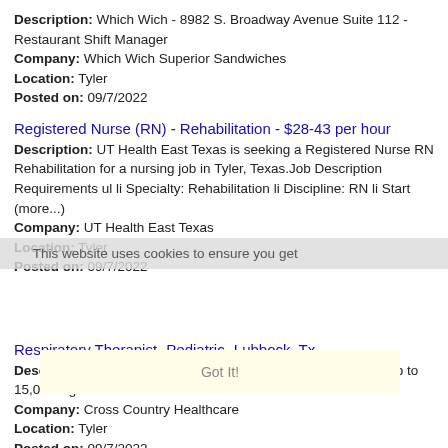Description: Which Wich - 8982 S. Broadway Avenue Suite 112 - Restaurant Shift Manager
Company: Which Wich Superior Sandwiches
Location: Tyler
Posted on: 09/7/2022
Registered Nurse (RN) - Rehabilitation - $28-43 per hour
Description: UT Health East Texas is seeking a Registered Nurse RN Rehabilitation for a nursing job in Tyler, Texas.Job Description Requirements ul li Specialty: Rehabilitation li Discipline: RN li Start (more...)
Company: UT Health East Texas
Location: Tyler
Posted on: 09/7/2022
This website uses cookies to ensure you get
Respiratory Therapist- Pediatric- Lubbock, Tx
Description: Respiratory Therapist RT Pediatric Lubbock, TX Up to 15,000 sign on bonus Full relocation
Company: Cross Country Healthcare
Location: Tyler
Posted on: 09/7/2022
Got It!
Salary in Longview, Texas Area | More details for Longview, Texas Jobs |Salary